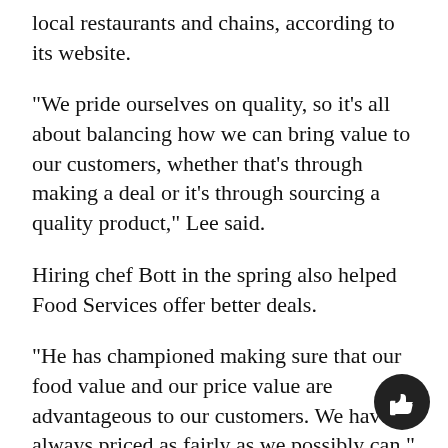local restaurants and chains, according to its website.
“We pride ourselves on quality, so it’s all about balancing how we can bring value to our customers, whether that’s through making a deal or it's through sourcing a quality product,” Lee said.
Hiring chef Bott in the spring also helped Food Services offer better deals.
“He has championed making sure that our food value and our price value are advantageous to our customers. We have always priced as fairly as we possibly can,” Lee said.
Along with feedback through email and social media, Food Services looks at responses to the National Association of College and University